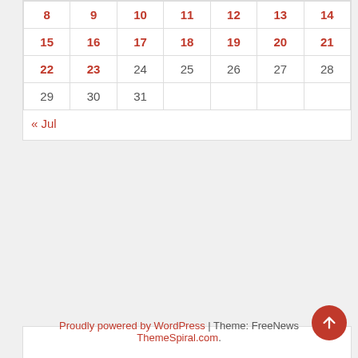| 8 | 9 | 10 | 11 | 12 | 13 | 14 |
| 15 | 16 | 17 | 18 | 19 | 20 | 21 |
| 22 | 23 | 24 | 25 | 26 | 27 | 28 |
| 29 | 30 | 31 |  |  |  |  |
« Jul
Proudly powered by WordPress | Theme: FreeNews ThemeSpiral.com.